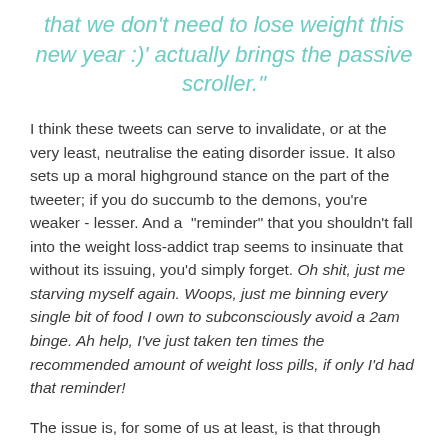that we don't need to lose weight this new year :)' actually brings the passive scroller."
I think these tweets can serve to invalidate, or at the very least, neutralise the eating disorder issue. It also sets up a moral highground stance on the part of the tweeter; if you do succumb to the demons, you're weaker - lesser. And a  "reminder" that you shouldn't fall into the weight loss-addict trap seems to insinuate that without its issuing, you'd simply forget. Oh shit, just me starving myself again. Woops, just me binning every single bit of food I own to subconsciously avoid a 2am binge. Ah help, I've just taken ten times the recommended amount of weight loss pills, if only I'd had that reminder!
The issue is, for some of us at least, is that through